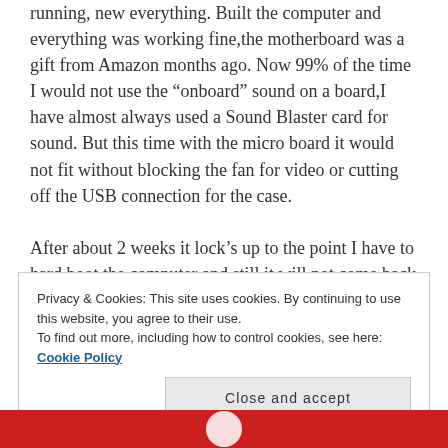running, new everything. Built the computer and everything was working fine,the motherboard was a gift from Amazon months ago. Now 99% of the time I would not use the “onboard” sound on a board,I have almost always used a Sound Blaster card for sound. But this time with the micro board it would not fit without blocking the fan for video or cutting off the USB connection for the case.

After about 2 weeks it lock’s up to the point I have to hard boot the computer and still it will not come back to life. I had to turn off the power to the board to get
Privacy & Cookies: This site uses cookies. By continuing to use this website, you agree to their use.
To find out more, including how to control cookies, see here: Cookie Policy
Close and accept
[Figure (other): Red banner bar at the bottom of the page with a partial white circular icon]